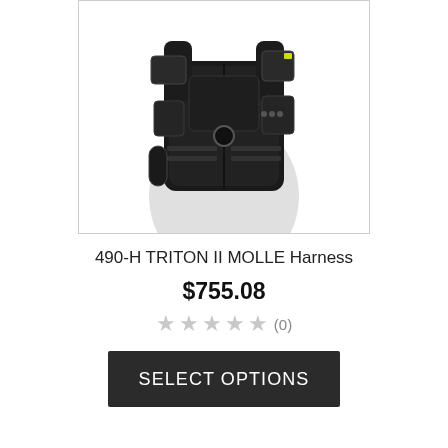[Figure (photo): Product photo of 490-H TRITON II MOLLE Harness, a black tactical vest/harness with multiple pouches and MOLLE webbing, shown on a white mannequin torso, cropped at the top.]
490-H TRITON II MOLLE Harness
$755.08
★★★★★ (0)
SELECT OPTIONS